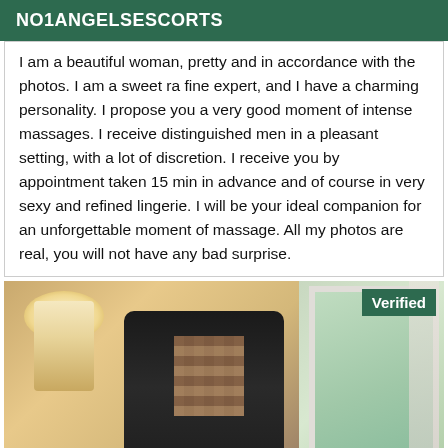NO1ANGELSESCORTS
I am a beautiful woman, pretty and in accordance with the photos. I am a sweet ra fine expert, and I have a charming personality. I propose you a very good moment of intense massages. I receive distinguished men in a pleasant setting, with a lot of discretion. I receive you by appointment taken 15 min in advance and of course in very sexy and refined lingerie. I will be your ideal companion for an unforgettable moment of massage. All my photos are real, you will not have any bad surprise.
[Figure (photo): A person taking a mirror selfie in a room with warm lighting on the left and a window with greenery visible on the right. The face is pixelated/blurred.]